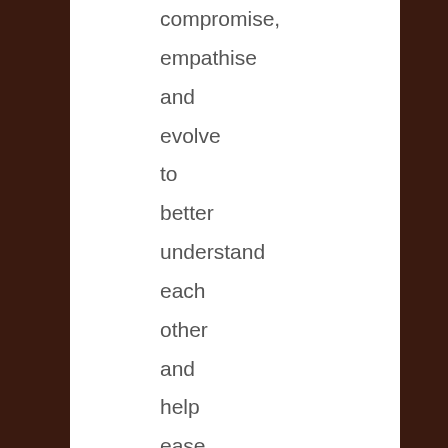compromise, empathise and evolve to better understand each other and help ease some of the stress we each experience in performing our